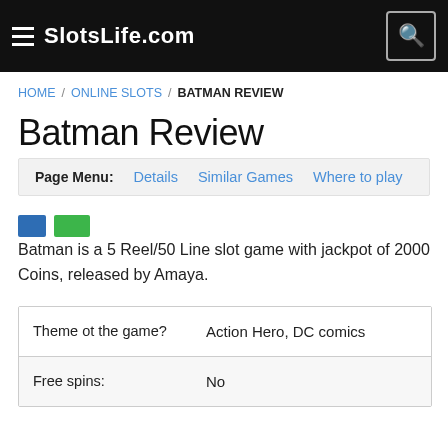SlotsLife.com
HOME / ONLINE SLOTS / BATMAN REVIEW
Batman Review
Page Menu: Details  Similar Games  Where to play
[Figure (other): Two colored rectangles: a blue rectangle and a green rectangle, used as visual indicators or rating icons]
Batman is a 5 Reel/50 Line slot game with jackpot of 2000 Coins, released by Amaya.
|  |  |
| --- | --- |
| Theme ot the game? | Action Hero, DC comics |
| Free spins: | No |